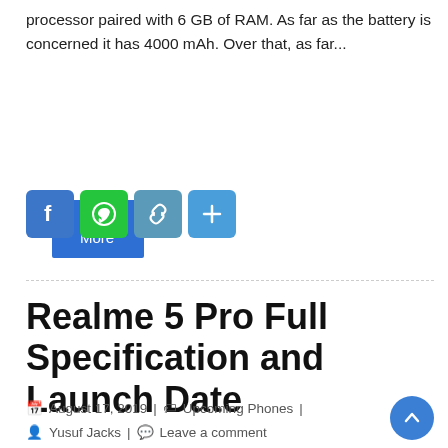processor paired with 6 GB of RAM. As far as the battery is concerned it has 4000 mAh. Over that, as far...
Read More
[Figure (other): Social share icons: Facebook (blue), WhatsApp (green), Link (teal), More (blue)]
Realme 5 Pro Full Specification and Launch Date
August 17, 2019 | Upcoming Phones | Yusuf Jacks | Leave a comment